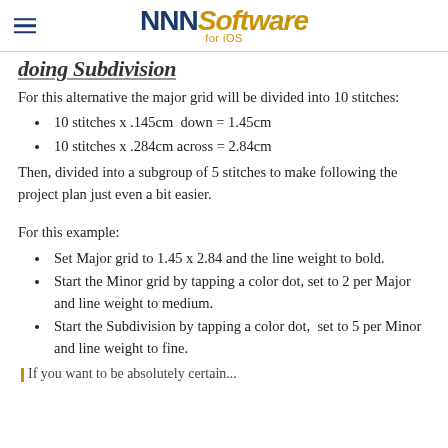NNN Software for iOS
doing Subdivision
For this alternative the major grid will be divided into 10 stitches:
10 stitches x .145cm  down = 1.45cm
10 stitches x .284cm across = 2.84cm
Then, divided into a subgroup of 5 stitches to make following the project plan just even a bit easier.
For this example:
Set Major grid to 1.45 x 2.84 and the line weight to bold.
Start the Minor grid by tapping a color dot, set to 2 per Major and line weight to medium.
Start the Subdivision by tapping a color dot,  set to 5 per Minor and line weight to fine.
If you want to be absolutely certain...